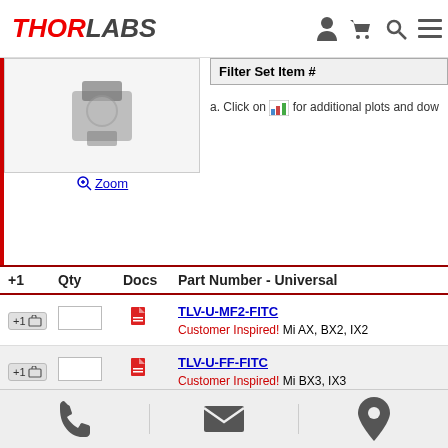THORLABS
[Figure (photo): Product photo thumbnail of a microscope filter cube, partially visible at top]
Zoom
| Filter Set Item # |
| --- |
a. Click on [icon] for additional plots and dow
| +1 | Qty | Docs | Part Number - Universal |
| --- | --- | --- | --- |
| +1 |  | doc | TLV-U-MF2-FITC | Customer Inspired! Mi AX, BX2, IX2 |
| +1 |  | doc | TLV-U-FF-FITC | Customer Inspired! Mi BX3, IX3 |
| +1 |  | doc | TLV-TE2000-FITC | Customer Inspired! Mi TE2000 and Eclipse T |
Add To Cart
Phone | Email | Location icons